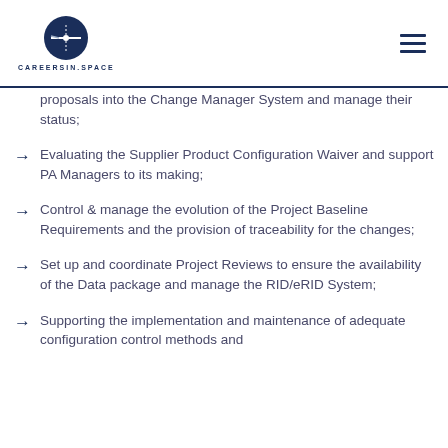CAREERSIN.SPACE
proposals into the Change Manager System and manage their status;
Evaluating the Supplier Product Configuration Waiver and support PA Managers to its making;
Control & manage the evolution of the Project Baseline Requirements and the provision of traceability for the changes;
Set up and coordinate Project Reviews to ensure the availability of the Data package and manage the RID/eRID System;
Supporting the implementation and maintenance of adequate configuration control methods and